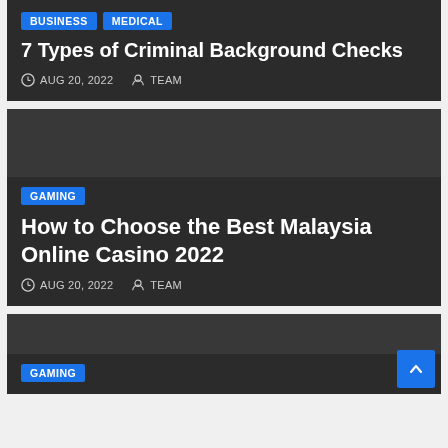[Figure (screenshot): Dark card with BUSINESS and MEDICAL tags, title '7 Types of Criminal Background Checks', date AUG 20, 2022, author TEAM]
[Figure (screenshot): Dark card with GAMING tag, title 'How to Choose the Best Malaysia Online Casino 2022', date AUG 20, 2022, author TEAM]
[Figure (screenshot): Dark card with GAMING tag, partially visible at bottom of page]